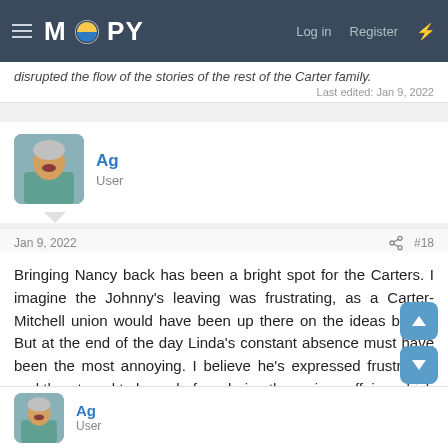MOOPY — Log in  Register
disrupted the flow of the stories of the rest of the Carter family.
Last edited: Jan 9, 2022
Ag
User
Jan 9, 2022  #18
Bringing Nancy back has been a bright spot for the Carters. I imagine the Johnny's leaving was frustrating, as a Carter-Mitchell union would have been up there on the ideas board. But at the end of the day Linda's constant absence must have been the most annoying. I believe he's expressed frustration and threatened to leave before during the various affairs, which do against everything the characters are about.
Ag
User